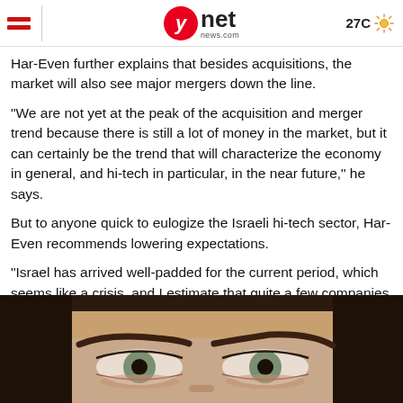ynet news.com | 27C
Har-Even further explains that besides acquisitions, the market will also see major mergers down the line.
"We are not yet at the peak of the acquisition and merger trend because there is still a lot of money in the market, but it can certainly be the trend that will characterize the economy in general, and hi-tech in particular, in the near future," he says.
But to anyone quick to eulogize the Israeli hi-tech sector, Har-Even recommends lowering expectations.
"Israel has arrived well-padded for the current period, which seems like a crisis, and I estimate that quite a few companies will use the money they have accumulated to buy up good companies at a cheaper price, which will help them continue to grow."
Taboola Feed
[Figure (photo): Close-up photo of a woman's eyes and eyebrows, cropped at bottom of page]